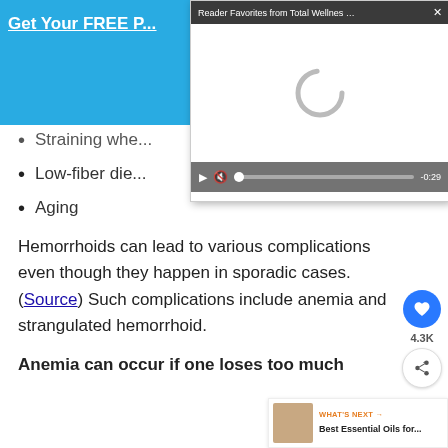Get Your FREE P...
[Figure (screenshot): Video player popup overlay with title 'Reader Favorites from Total Wellnes...' and close button, showing a loading spinner and video controls with time -0:29]
Straining whe...
Low-fiber die...
Aging
Hemorrhoids can lead to various complications even though they happen in sporadic cases. (Source) Such complications include anemia and strangulated hemorrhoid.
Anemia can occur if one loses too much